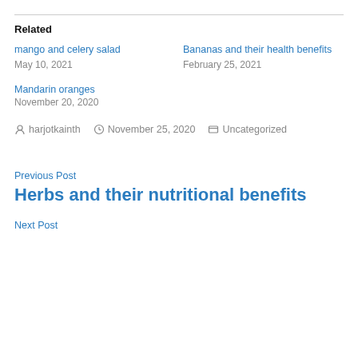Related
mango and celery salad
May 10, 2021
Bananas and their health benefits
February 25, 2021
Mandarin oranges
November 20, 2020
harjotkainth   November 25, 2020   Uncategorized
Previous Post
Herbs and their nutritional benefits
Next Post